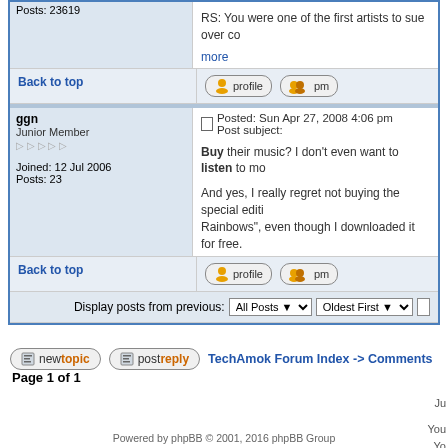Posts: 23619
RS: You were one of the first artists to sue over co... more
Back to top
ggn
Junior Member
Joined: 12 Jul 2006
Posts: 23
Posted: Sun Apr 27, 2008 4:06 pm    Post subject:
Buy their music? I don't even want to listen to mo...
And yes, I really regret not buying the special editi... Rainbows", even though I downloaded it for free.
Back to top
Display posts from previous:  All Posts   Oldest First
newtopic   postreply   TechAmok Forum Index -> Comments
Page 1 of 1
Powered by phpBB © 2001, 2016 phpBB Group